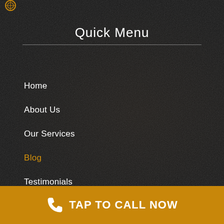[Figure (logo): Small circular logo icon at top left]
Quick Menu
Home
About Us
Our Services
Blog
Testimonials
Contact
TAP TO CALL NOW